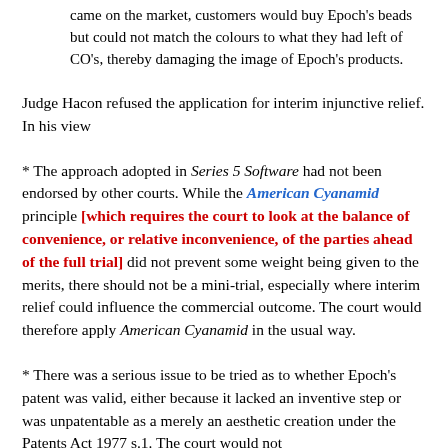came on the market, customers would buy Epoch's beads but could not match the colours to what they had left of CO's, thereby damaging the image of Epoch's products.
Judge Hacon refused the application for interim injunctive relief. In his view
* The approach adopted in Series 5 Software had not been endorsed by other courts. While the American Cyanamid principle [which requires the court to look at the balance of convenience, or relative inconvenience, of the parties ahead of the full trial] did not prevent some weight being given to the merits, there should not be a mini-trial, especially where interim relief could influence the commercial outcome. The court would therefore apply American Cyanamid in the usual way.
* There was a serious issue to be tried as to whether Epoch's patent was valid, either because it lacked an inventive step or was unpatentable as a merely an aesthetic creation under the Patents Act 1977 s.1. The court would not